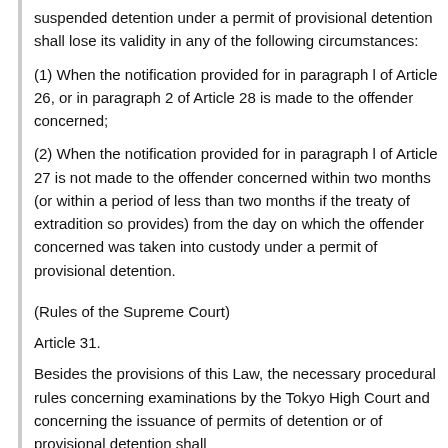suspended detention under a permit of provisional detention shall lose its validity in any of the following circumstances:
(1) When the notification provided for in paragraph l of Article 26, or in paragraph 2 of Article 28 is made to the offender concerned;
(2) When the notification provided for in paragraph l of Article 27 is not made to the offender concerned within two months (or within a period of less than two months if the treaty of extradition so provides) from the day on which the offender concerned was taken into custody under a permit of provisional detention.
(Rules of the Supreme Court)
Article 31.
Besides the provisions of this Law, the necessary procedural rules concerning examinations by the Tokyo High Court and concerning the issuance of permits of detention or of provisional detention shall